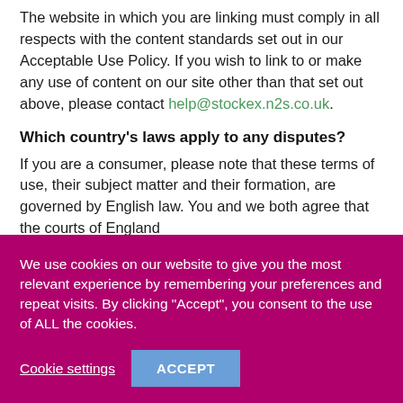The website in which you are linking must comply in all respects with the content standards set out in our Acceptable Use Policy. If you wish to link to or make any use of content on our site other than that set out above, please contact help@stockex.n2s.co.uk.
Which country's laws apply to any disputes?
If you are a consumer, please note that these terms of use, their subject matter and their formation, are governed by English law. You and we both agree that the courts of England
We use cookies on our website to give you the most relevant experience by remembering your preferences and repeat visits. By clicking "Accept", you consent to the use of ALL the cookies.
Cookie settings
ACCEPT